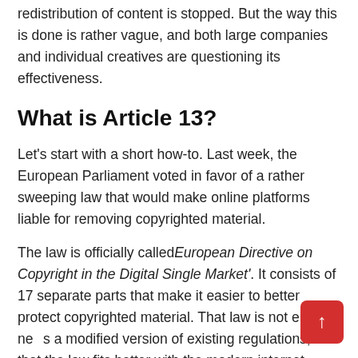redistribution of content is stopped. But the way this is done is rather vague, and both large companies and individual creatives are questioning its effectiveness.
What is Article 13?
Let's start with a short how-to. Last week, the European Parliament voted in favor of a rather sweeping law that would make online platforms liable for removing copyrighted material.
The law is officially called European Directive on Copyright in the Digital Single Market'. It consists of 17 separate parts that make it easier to better protect copyrighted material. That law is not entirely new, it is a modified version of existing regulations, so that the law fits better with the modern internet.